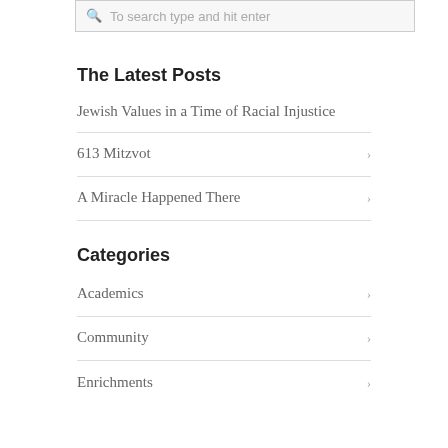To search type and hit enter
The Latest Posts
Jewish Values in a Time of Racial Injustice
613 Mitzvot
A Miracle Happened There
Categories
Academics
Community
Enrichments